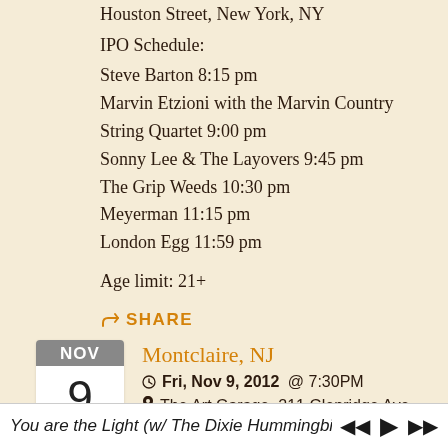Houston Street, New York, NY
IPO Schedule:
Steve Barton 8:15 pm
Marvin Etzioni with the Marvin Country String Quartet 9:00 pm
Sonny Lee & The Layovers 9:45 pm
The Grip Weeds 10:30 pm
Meyerman 11:15 pm
London Egg 11:59 pm
Age limit: 21+
SHARE
Montclaire, NJ
Fri, Nov 9, 2012 @ 7:30PM
The Art Garage, 211 Glenridge Ave., Montclaire, NJ
You are the Light (w/ The Dixie Hummingbirds